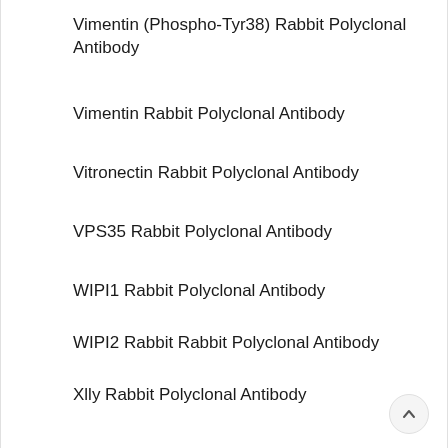Vimentin (Phospho-Tyr38) Rabbit Polyclonal Antibody
Vimentin Rabbit Polyclonal Antibody
Vitronectin Rabbit Polyclonal Antibody
VPS35 Rabbit Polyclonal Antibody
WIPI1 Rabbit Polyclonal Antibody
WIPI2 Rabbit Rabbit Polyclonal Antibody
Xlly Rabbit Polyclonal Antibody
ZBTB45 Rabbit Polyclonal Antibody
ZFP91 Rabbit Polyclonal Antibody